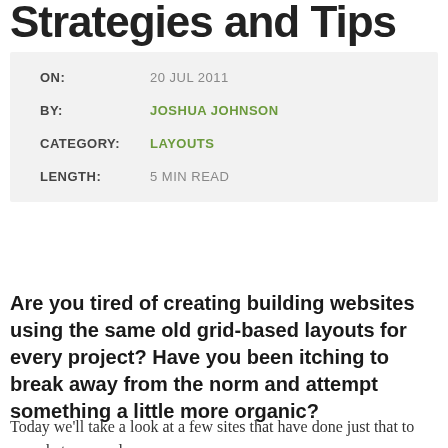Strategies and Tips
| ON: | 20 JUL 2011 |
| BY: | JOSHUA JOHNSON |
| CATEGORY: | LAYOUTS |
| LENGTH: | 5 MIN READ |
Are you tired of creating building websites using the same old grid-based layouts for every project? Have you been itching to break away from the norm and attempt something a little more organic?
Today we'll take a look at a few sites that have done just that to see what we can learn